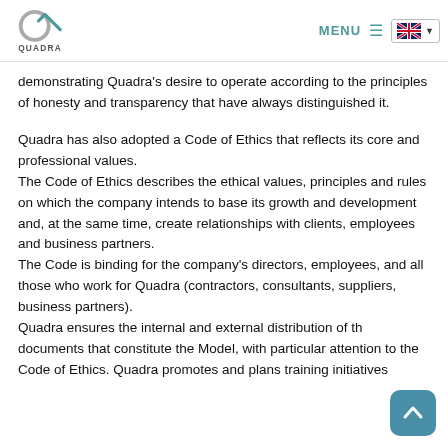QUADRA — MENU (navigation bar with logo and language selector)
demonstrating Quadra's desire to operate according to the principles of honesty and transparency that have always distinguished it.
Quadra has also adopted a Code of Ethics that reflects its core and professional values. The Code of Ethics describes the ethical values, principles and rules on which the company intends to base its growth and development and, at the same time, create relationships with clients, employees and business partners. The Code is binding for the company's directors, employees, and all those who work for Quadra (contractors, consultants, suppliers, business partners). Quadra ensures the internal and external distribution of the documents that constitute the Model, with particular attention to the Code of Ethics. Quadra promotes and plans training initiatives